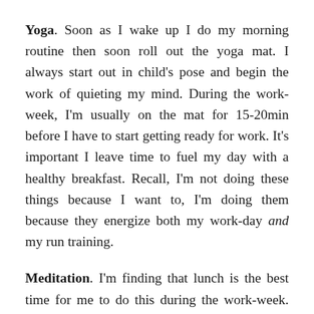Yoga. Soon as I wake up I do my morning routine then soon roll out the yoga mat. I always start out in child's pose and begin the work of quieting my mind. During the work-week, I'm usually on the mat for 15-20min before I have to start getting ready for work. It's important I leave time to fuel my day with a healthy breakfast. Recall, I'm not doing these things because I want to, I'm doing them because they energize both my work-day and my run training.
Meditation. I'm finding that lunch is the best time for me to do this during the work-week. I'm only allotted 35min so I have to proactively stick to a routine—eat lunch, respond to some emails, then with 10-15min